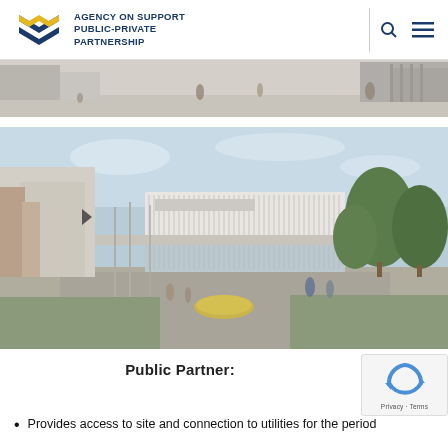AGENCY ON SUPPORT PUBLIC-PRIVATE PARTNERSHIP
[Figure (photo): Top strip of an architectural rendering showing a public plaza with people walking, modern buildings in the background, daytime outdoor scene]
[Figure (photo): Architectural rendering of a modern public building complex with a large glass and white facade structure in the center, flanked by trees, wide pedestrian pathways, and people in the foreground]
Public Partner:
Provides access to site and connection to utilities for the period